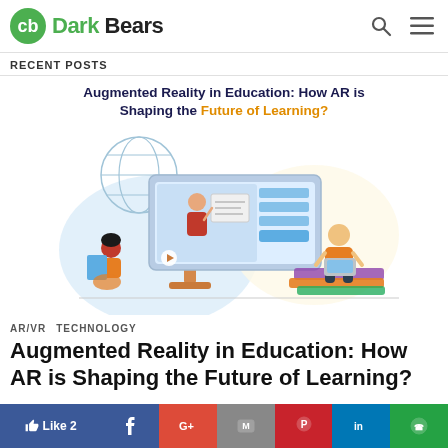Dark Bears — navigation header with logo, search, and menu icons
RECENT POSTS
[Figure (illustration): Illustration of augmented reality in education: a large desktop monitor showing a teacher on screen, a student sitting on books using a laptop, another student sitting on the floor reading, and a globe in the background. Overlaid title text: 'Augmented Reality in Education: How AR is Shaping the Future of Learning?']
AR/VR  TECHNOLOGY
Augmented Reality in Education: How AR is Shaping the Future of Learning?
Social share bar: Like 2, Facebook, Google+, Gmail, Pinterest, LinkedIn, WhatsApp